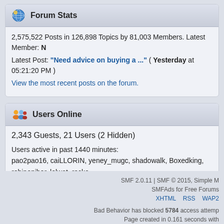Forum Stats
2,575,522 Posts in 126,898 Topics by 81,003 Members. Latest Member: N
Latest Post: "Need advice on buying a ..." ( Yesterday at 05:21:20 PM )
View the most recent posts on the forum.
Users Online
2,343 Guests, 21 Users (2 Hidden)
Users active in past 1440 minutes:
pao2pao16, caiLLORIN, yeney_mugc, shadowalk, Boxedking, robinonibor, lolwat, rocko
asherbur, maxis_me, gloom, renester, boogeyman, Jul06, mikeltan, pheetongz
Most Online Today: 2,364. Most Online Ever: 93,024 (December 31, 2019, 11:38:04 AM)
SMF 2.0.11 | SMF © 2015, Simple M
SMFAds for Free Forums
XHTML  RSS  WAP2
Bad Behavior has blocked 5784 access attemp
Page created in 0.161 seconds with